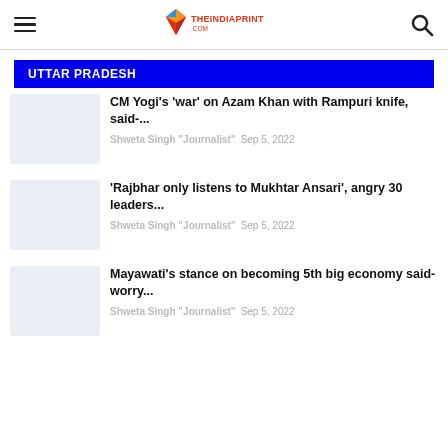THEINDIAPRINT.COM
UTTAR PRADESH
CM Yogi's 'war' on Azam Khan with Rampuri knife, said-...
Shweta Singh "Journalist"  Sep 5, 2022
'Rajbhar only listens to Mukhtar Ansari', angry 30 leaders...
Shweta Singh "Journalist"  Sep 5, 2022
Mayawati's stance on becoming 5th big economy said- worry...
Shweta Singh "Journalist"  Sep 5, 2022